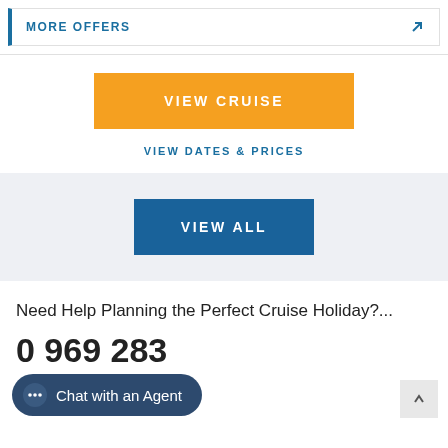MORE OFFERS
VIEW CRUISE
VIEW DATES & PRICES
VIEW ALL
Need Help Planning the Perfect Cruise Holiday?...
0 969 283
Chat with an Agent